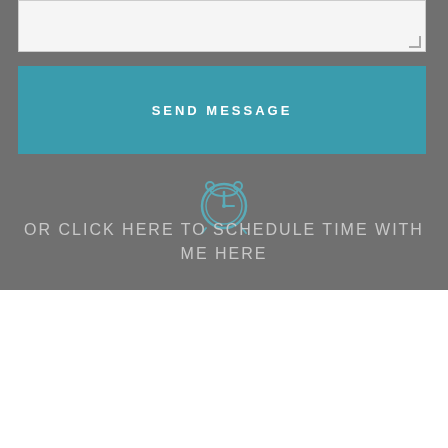[Figure (other): Text area input box with resize handle in bottom right corner]
SEND MESSAGE
[Figure (illustration): Clock/alarm icon outlined in teal/muted blue color]
OR CLICK HERE TO SCHEDULE TIME WITH ME HERE
READY TO GET STARTED?